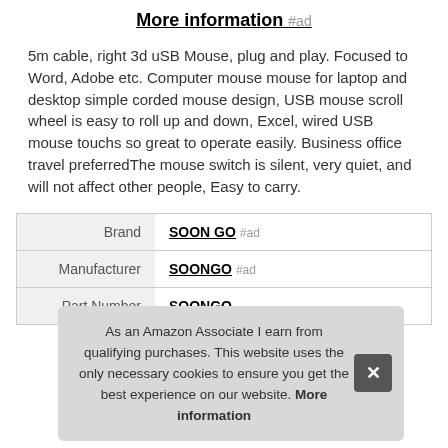More information #ad
5m cable, right 3d uSB Mouse, plug and play. Focused to Word, Adobe etc. Computer mouse mouse for laptop and desktop simple corded mouse design, USB mouse scroll wheel is easy to roll up and down, Excel, wired USB mouse touchs so great to operate easily. Business office travel preferredThe mouse switch is silent, very quiet, and will not affect other people, Easy to carry.
| Brand | SOON GO #ad |
| Manufacturer | SOONGO #ad |
| Part Number | SOONGO |
As an Amazon Associate I earn from qualifying purchases. This website uses the only necessary cookies to ensure you get the best experience on our website. More information